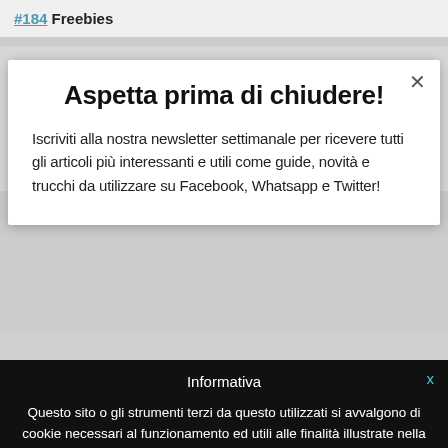#184 Freebies
My husband and i ended up being very cheerful that Albert could c because of the ideas he had out of the web pages. It is now and possibly be giving away points that many others have been making
Aspetta prima di chiudere!
Iscriviti alla nostra newsletter settimanale per ricevere tutti gli articoli più interessanti e utili come guide, novità e trucchi da utilizzare su Facebook, Whatsapp e Twitter!
Informativa
Questo sito o gli strumenti terzi da questo utilizzati si avvalgono di cookie necessari al funzionamento ed utili alle finalità illustrate nella cookie policy. Se vuoi saperne di più o negare il consenso a tutti o ad alcuni cookie, consulta la cookie policy. Chiudendo questo banner, scorrendo questa pagina, cliccando su un link o proseguendo la navigazione in altra maniera, acconsenti all'uso dei cookie.